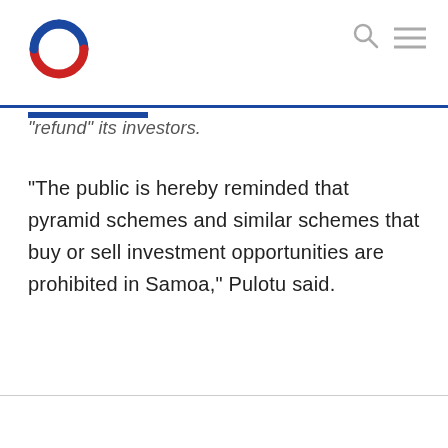[Figure (logo): Circular logo with blue top arc and red bottom arc, white center]
“refund” its investors.
“The public is hereby reminded that pyramid schemes and similar schemes that buy or sell investment opportunities are prohibited in Samoa,” Pulotu said.